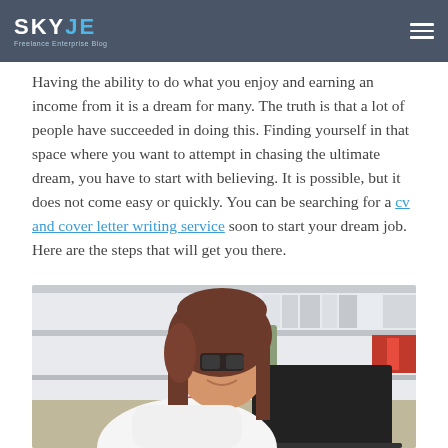SKYJE — Freelance Enterprise Blog
Having the ability to do what you enjoy and earning an income from it is a dream for many. The truth is that a lot of people have succeeded in doing this. Finding yourself in that space where you want to attempt in chasing the ultimate dream, you have to start with believing. It is possible, but it does not come easy or quickly. You can be searching for a cv and cover letter writing service soon to start your dream job. Here are the steps that will get you there.
[Figure (photo): Woman with glasses and long brown hair, wearing a white shirt, holding a red coffee mug and smiling, seated at a desk with a laptop and bookshelves in the background.]